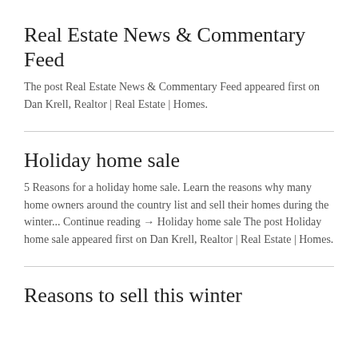Real Estate News & Commentary Feed
The post Real Estate News & Commentary Feed appeared first on Dan Krell, Realtor | Real Estate | Homes.
Holiday home sale
5 Reasons for a holiday home sale. Learn the reasons why many home owners around the country list and sell their homes during the winter... Continue reading → Holiday home sale The post Holiday home sale appeared first on Dan Krell, Realtor | Real Estate | Homes.
Reasons to sell this winter